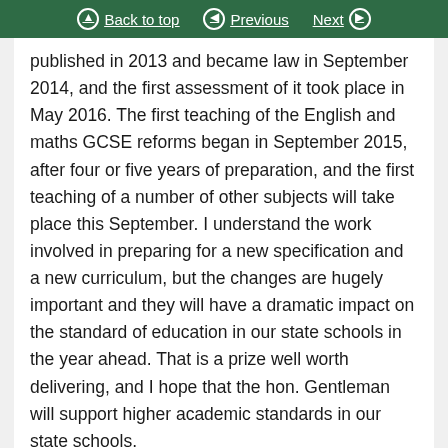Back to top | Previous | Next
published in 2013 and became law in September 2014, and the first assessment of it took place in May 2016. The first teaching of the English and maths GCSE reforms began in September 2015, after four or five years of preparation, and the first teaching of a number of other subjects will take place this September. I understand the work involved in preparing for a new specification and a new curriculum, but the changes are hugely important and they will have a dramatic impact on the standard of education in our state schools in the year ahead. That is a prize well worth delivering, and I hope that the hon. Gentleman will support higher academic standards in our state schools.
Margaret Greenwood ›